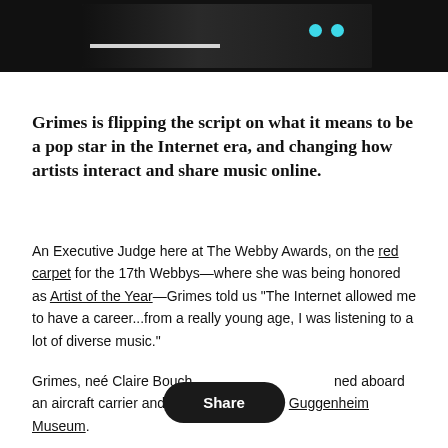[Figure (photo): Dark banner area at top with a photograph of a person in dark clothing, a white horizontal bar element, and two cyan/blue dots on the right side]
Grimes is flipping the script on what it means to be a pop star in the Internet era, and changing how artists interact and share music online.
An Executive Judge here at The Webby Awards, on the red carpet for the 17th Webbys—where she was being honored as Artist of the Year—Grimes told us "The Internet allowed me to have a career...from a really young age, I was listening to a lot of diverse music."
Grimes, neé Claire Bouch[er] performed aboard an aircraft carrier and in the atrium of the Guggenheim Museum.
She captures the high-low stratum of celebrity and neckdom